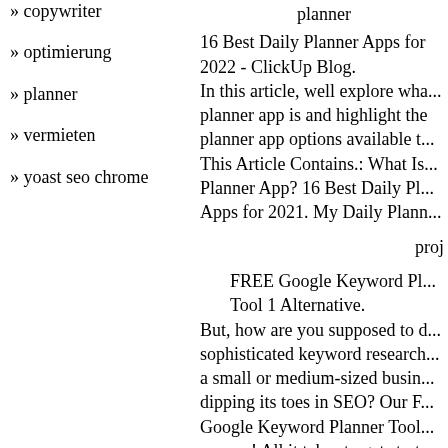» copywriter
» optimierung
» planner
» vermieten
» yoast seo chrome
planner
16 Best Daily Planner Apps for 2022 - ClickUp Blog.
In this article, well explore what a planner app is and highlight the best planner app options available t... This Article Contains.: What Is a Planner App? 16 Best Daily Pl... Apps for 2021. My Daily Plann...
proj
FREE Google Keyword Pl... Tool 1 Alternative.
But, how are you supposed to do sophisticated keyword research as a small or medium-sized business dipping its toes in SEO? Our F... Google Keyword Planner Tool... answer! All it takes to get start... enter a keyword related to your business. From that point...